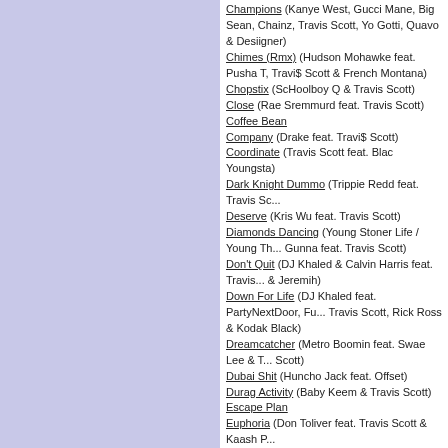Champions (Kanye West, Gucci Mane, Big Sean, Chainz, Travis Scott, Yo Gotti, Quavo & Desiigner)
Chimes (Rmx) (Hudson Mohawke feat. Pusha T, Travi$ Scott & French Montana)
Chopstix (ScHoolboy Q & Travis Scott)
Close (Rae Sremmurd feat. Travis Scott)
Coffee Bean
Company (Drake feat. Travi$ Scott)
Coordinate (Travis Scott feat. Blac Youngsta)
Dark Knight Dummo (Trippie Redd feat. Travis Sc...)
Deserve (Kris Wu feat. Travis Scott)
Diamonds Dancing (Young Stoner Life / Young Th... Gunna feat. Travis Scott)
Don't Quit (DJ Khaled & Calvin Harris feat. Travis... & Jeremih)
Down For Life (DJ Khaled feat. PartyNextDoor, Fu... Travis Scott, Rick Ross & Kodak Black)
Dreamcatcher (Metro Boomin feat. Swae Lee & T... Scott)
Dubai Shit (Huncho Jack feat. Offset)
Durag Activity (Baby Keem & Travis Scott)
Escape Plan
Euphoria (Don Toliver feat. Travis Scott & Kaash P...)
Eye 2 Eye (Huncho Jack feat. Takeoff)
Fair Trade (Drake feat. Travis Scott)
First Off (Future feat. Travis Scott)
First Take (Travis Scott feat. Bryson Tiller)
Flocky Flocky (Don Toliver feat. Travis Scott)
Floyd Mayweather (Young Thug feat. Travis Scott... Mane & Gunna)
Flying High (Travis Scott feat. Toro Y Moi)
Franchise (Travis Scott feat. Young Thug & M.I.A.)
Gang Gang (Jackboys & Sheck Wes)
Gatti (Jackboys, Pop Smoke & Travis Scott)
Ghostface Killers (21 Savage, Offset & Metro Boo... feat. Travis Scott)
Give No Fxk (Migos feat. Travis Scott & Young Th...)